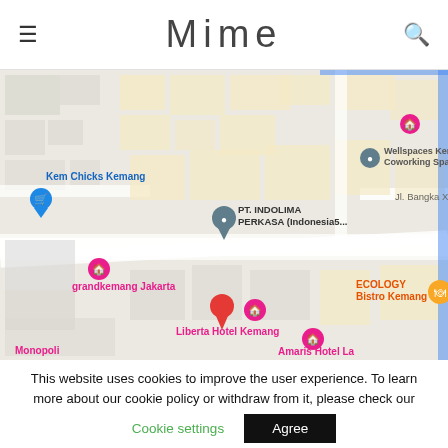Mime
[Figure (map): Google Maps view of Kemang area in Jakarta, Indonesia, showing locations including Hotel Kuretakeso Kemang, Wellspaces Kemang Coworking Space, Kem Chicks Kemang, PT. INDOLIMA PERKASA (Indonesia5...), grandkemang Jakarta, Liberta Hotel Kemang, Amaris Hotel La, Monopoli, ECOLOGY Bistro Kemang, with street labels Jl. Bangka XII and Jl. Kemang Raya]
This website uses cookies to improve the user experience. To learn more about our cookie policy or withdraw from it, please check our
Cookie settings
Agree